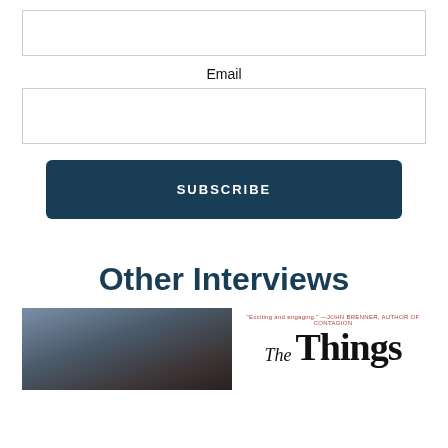[Figure (other): Empty input text field (top, no label)]
Email
[Figure (other): Email input text field]
SUBSCRIBE
Other Interviews
[Figure (photo): Person with dark hair photographed against a blue-grey background]
[Figure (illustration): Book cover snippet showing tagline and title 'The Things']